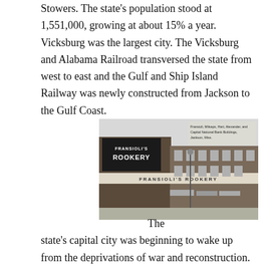Stowers. The state's population stood at 1,551,000, growing at about 15% a year. Vicksburg was the largest city. The Vicksburg and Alabama Railroad transversed the state from west to east and the Gulf and Ship Island Railway was newly constructed from Jackson to the Gulf Coast.
[Figure (photo): Black and white historical photograph of Fransioli's Rookery building in Jackson, Mississippi. The building facade shows 'FRANSIOLI'S ROOKERY' signage prominently. Caption text in upper right reads: 'Fransioli, Milsaps, Hart, Alexander, and Capital National Bank Buildings, Jackson, Miss.']
The state's capital city was beginning to wake up from the deprivations of war and reconstruction. Shopping at Christmas in Jackson was mostly done at the Rookery, a